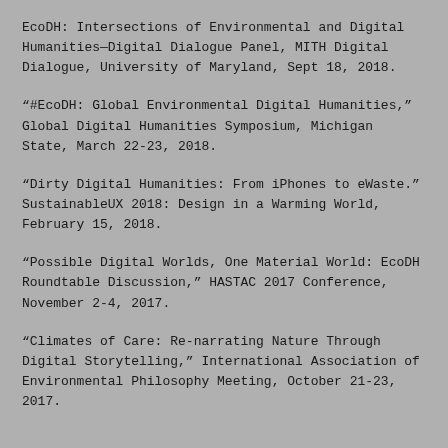EcoDH: Intersections of Environmental and Digital Humanities—Digital Dialogue Panel, MITH Digital Dialogue, University of Maryland, Sept 18, 2018.
“#EcoDH: Global Environmental Digital Humanities,” Global Digital Humanities Symposium, Michigan State, March 22-23, 2018.
“Dirty Digital Humanities: From iPhones to eWaste.” SustainableUX 2018: Design in a Warming World, February 15, 2018.
“Possible Digital Worlds, One Material World: EcoDH Roundtable Discussion,” HASTAC 2017 Conference, November 2-4, 2017.
“Climates of Care: Re-narrating Nature Through Digital Storytelling,” International Association of Environmental Philosophy Meeting, October 21-23, 2017.